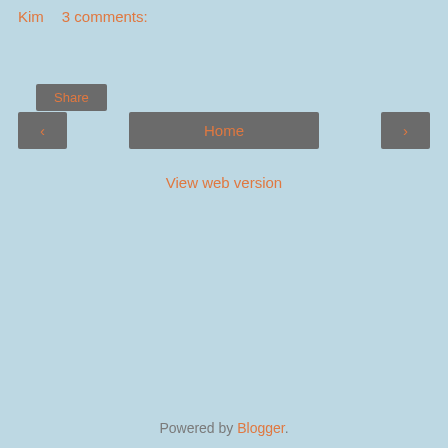Kim    3 comments:
Share
‹
Home
›
View web version
Powered by Blogger.